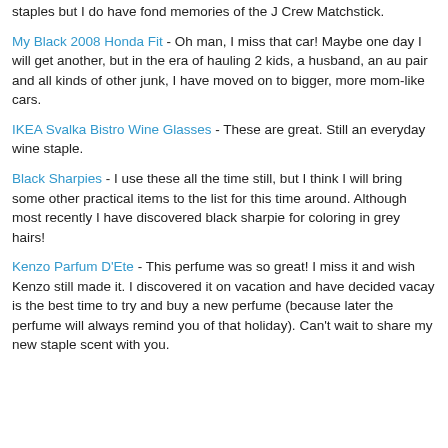staples but I do have fond memories of the J Crew Matchstick.
My Black 2008 Honda Fit - Oh man, I miss that car!  Maybe one day I will get another, but in the era of hauling 2 kids, a husband, an au pair and all kinds of other junk, I have moved on to bigger, more mom-like cars.
IKEA Svalka Bistro Wine Glasses - These are great.  Still an everyday wine staple.
Black Sharpies - I use these all the time still, but I think I will bring some other practical items to the list for this time around. Although most recently I have discovered black sharpie for coloring in grey hairs!
Kenzo Parfum D'Ete  - This perfume was so great!  I miss it and wish Kenzo still made it. I discovered it on vacation and have decided vacay is the best time to try and buy a new perfume (because later the perfume will always remind you of that holiday).  Can't wait to share my new staple scent with you.